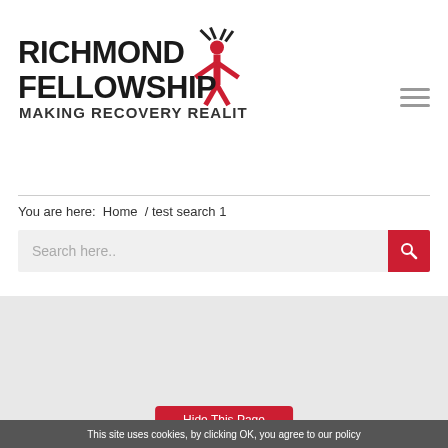[Figure (logo): Richmond Fellowship logo with red figure and text 'RICHMOND FELLOWSHIP – MAKING RECOVERY REALITY']
You are here:  Home  / test search 1
[Figure (other): Search bar with placeholder text 'Search here..' and red search button]
[Figure (logo): Recovery Focus logo – teal badge shape with white bold text 'RECOVERY FOCUS']
Richmond Fellowship is part of Recovery Focus, a group of charities with the shared aim to Inspire Recovery Together | To find out more visit www.recoveryfocus.org.uk
This site uses cookies, by clicking OK, you agree to our policy